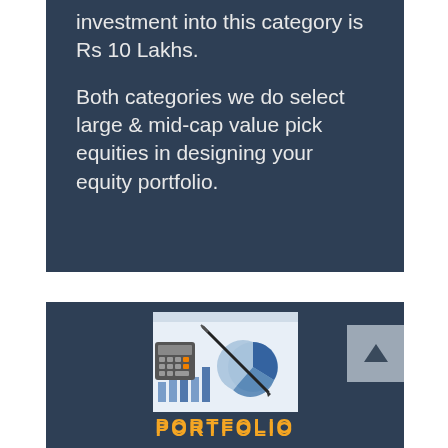investment into this category is Rs 10 Lakhs.

Both categories we do select large & mid-cap value pick equities in designing your equity portfolio.
[Figure (photo): Photo of a calculator, pen, and financial charts/pie charts on paper — representing portfolio/finance concept]
PORTFOLIO